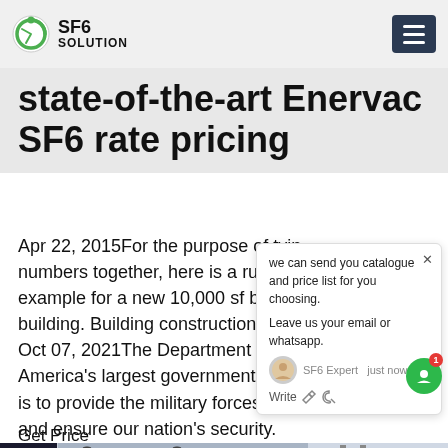SF6 SOLUTION
state-of-the-art Enervac SF6 rate pricing
Apr 22, 2015For the purpose of tying numbers together, here is a rudimentary example for a new 10,000 sf blast resistant building. Building construction cost Oct 07, 2021The Department of Energy is America's largest government agency. Our mission is to provide the military forces needed to deter war and ensure our nation's security.
Get Price
[Figure (photo): Electrical transmission towers and equipment, power line infrastructure photos]